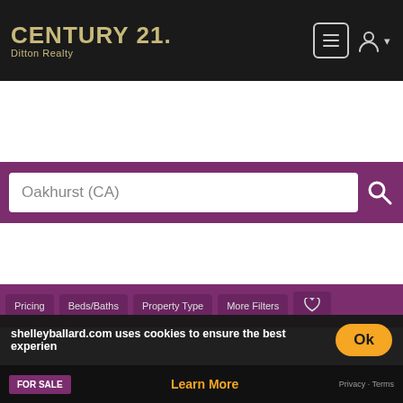[Figure (screenshot): Century 21 Ditton Realty logo in gold/tan on black header background]
[Figure (screenshot): Purple search bar with 'Oakhurst (CA)' text and search icon]
[Figure (screenshot): Filter buttons row: Pricing, Beds/Baths, Property Type, More Filters, heart icon]
0 Meadowwood Rd, Oakhurst, CA 93644
$85,000
Century 21 Ditton Realty
[Figure (photo): Aerial/landscape photo of wooded area with FOR SALE badge, listing for 0 Rd 620, Oakhurst, CA 93644 at $139,900]
0 Rd 620, Oakhurst, CA 93644
$139,900
shelleyballard.com uses cookies to ensure the best experience
Learn More
FOR SALE